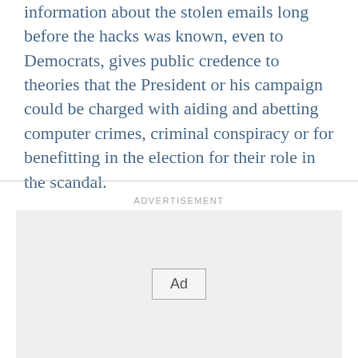information about the stolen emails long before the hacks was known, even to Democrats, gives public credence to theories that the President or his campaign could be charged with aiding and abetting computer crimes, criminal conspiracy or for benefitting in the election for their role in the scandal.
[Figure (other): Advertisement placeholder box with 'Ad' button label]